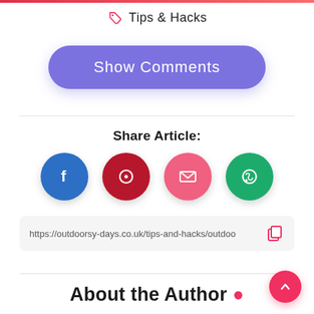Tips & Hacks
Show Comments
Share Article:
[Figure (infographic): Four circular social share buttons: Facebook (blue), Pinterest (dark red), Email (pink), WhatsApp (green)]
https://outdoorsy-days.co.uk/tips-and-hacks/outdoo
About the Author .